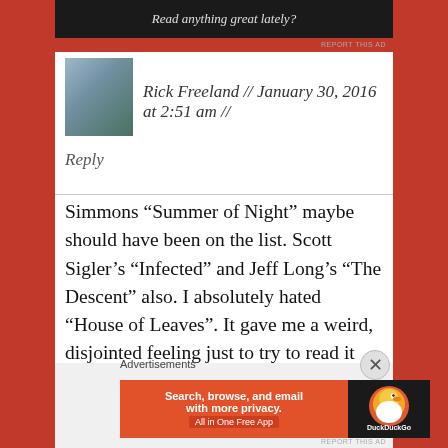[Figure (other): Dark banner with italic text 'Read anything great lately?']
REPORT THIS AD
[Figure (photo): Avatar photo of Rick Freeland, a man in a light-colored shirt]
Rick Freeland // January 30, 2016 at 2:51 am //
Reply
Simmons “Summer of Night” maybe should have been on the list. Scott Sigler’s “Infected” and Jeff Long’s “The Descent” also. I absolutely hated “House of Leaves”. It gave me a weird, disjointed feeling just to try to read it (which was maybe the point?).
Advertisements
[Figure (other): DuckDuckGo advertisement banner: 'Search, browse, and email with more privacy. All in One Free App' with DuckDuckGo logo on dark background]
REPORT THIS AD